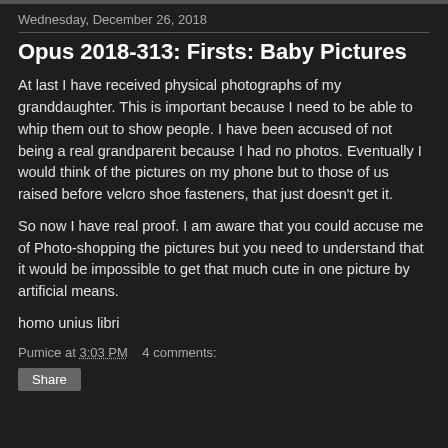Wednesday, December 26, 2018
Opus 2018-313: Firsts: Baby Pictures
At last I have received physical photographs of my granddaughter.  This is important because I need to be able to whip them out to show people.  I have been accused of not being a real grandparent because I had no photos.  Eventually I would think of the pictures on my phone but to those of us raised before velcro shoe fasteners, that just doesn’t get it.
So now I have real proof.  I am aware that you could accuse me of Photo-shopping the pictures but you need to understand that it would be impossible to get that much cute in one picture by artificial means.
homo unius libri
Pumice at 3:03 PM    4 comments: